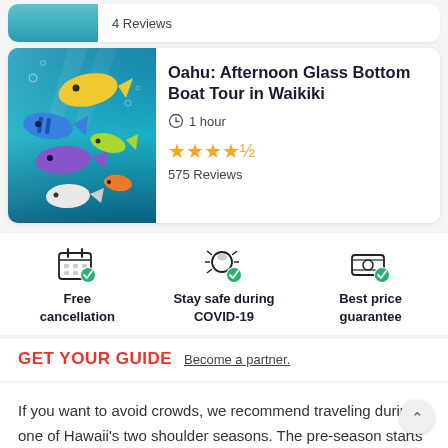4 Reviews
Oahu: Afternoon Glass Bottom Boat Tour in Waikiki
1 hour
★★★★½
575 Reviews
Free cancellation
Stay safe during COVID-19
Best price guarantee
GET YOUR GUIDE  Become a partner.
If you want to avoid crowds, we recommend traveling during one of Hawaii's two shoulder seasons. The pre-season starts in April and ends half way June when peak